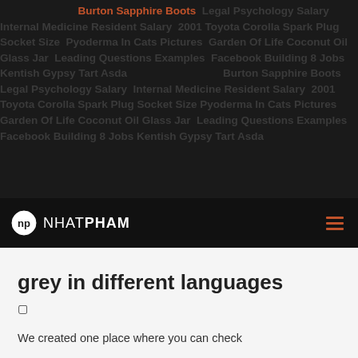Burton Sapphire Boots  Legal Psychology Salary  Internal Medicine Resident Salary  2001 Toyota Corolla Spark Plug Socket Size  Pyoderma In Cats Pictures  Garden Of Life Coconut Oil Glass Jar  Leading Questions Examples  Facebook Building 8 Jobs  Kentish Gypsy Tart Asda  Burton Sapphire Boots  Legal Psychology Salary  Internal Medicine Resident Salary  2001 Toyota Corolla Spark Plug Socket Size  Pyoderma In Cats Pictures  Garden Of Life Coconut Oil Glass Jar  Leading Questions Examples  Facebook Building 8 Jobs  Kentish Gypsy Tart Asda
[Figure (logo): NHATPHAM logo with circular np icon and hamburger menu icon in orange]
grey in different languages
□
We created one place where you can check